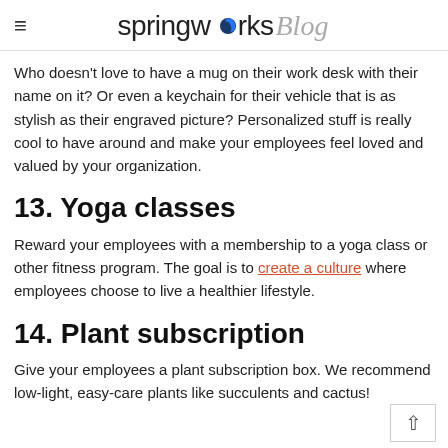springworks Blog
Who doesn't love to have a mug on their work desk with their name on it? Or even a keychain for their vehicle that is as stylish as their engraved picture? Personalized stuff is really cool to have around and make your employees feel loved and valued by your organization.
13. Yoga classes
Reward your employees with a membership to a yoga class or other fitness program. The goal is to create a culture where employees choose to live a healthier lifestyle.
14. Plant subscription
Give your employees a plant subscription box. We recommend low-light, easy-care plants like succulents and cactus!